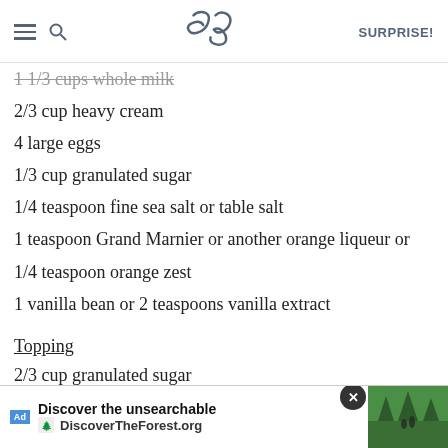SK SURPRISE!
1 1/3 cups whole milk
2/3 cup heavy cream
4 large eggs
1/3 cup granulated sugar
1/4 teaspoon fine sea salt or table salt
1 teaspoon Grand Marnier or another orange liqueur or
1/4 teaspoon orange zest
1 vanilla bean or 2 teaspoons vanilla extract
Topping
2/3 cup granulated sugar
Cut bread into 1 1/2-inch thick, generous slices; a 9-inch loaf should yield 6 slices. Whisk together milk, cream, [ad overlay] act, if using, [ad overlay] and